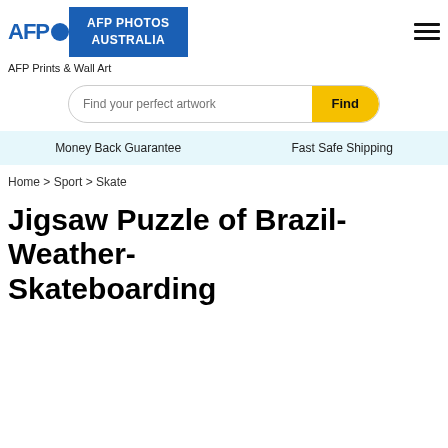AFP PHOTOS AUSTRALIA
AFP Prints & Wall Art
Find your perfect artwork
Money Back Guarantee    Fast Safe Shipping
Home > Sport > Skate
Jigsaw Puzzle of Brazil-Weather-Skateboarding